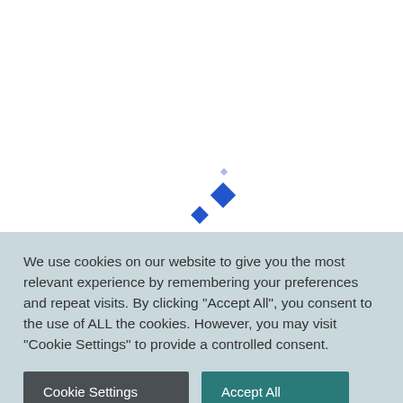[Figure (illustration): White background with two blue rotated diamond/square shapes near the center-left area of the page, one larger and one smaller, creating a loading or decorative animation effect.]
We use cookies on our website to give you the most relevant experience by remembering your preferences and repeat visits. By clicking “Accept All”, you consent to the use of ALL the cookies. However, you may visit "Cookie Settings" to provide a controlled consent.
Cookie Settings
Accept All